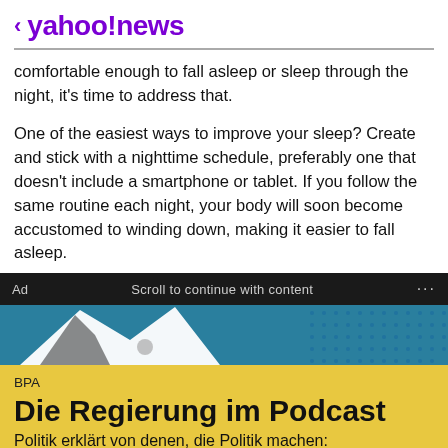< yahoo!news
comfortable enough to fall asleep or sleep through the night, it's time to address that.
One of the easiest ways to improve your sleep? Create and stick with a nighttime schedule, preferably one that doesn't include a smartphone or tablet. If you follow the same routine each night, your body will soon become accustomed to winding down, making it easier to fall asleep.
Ad   Scroll to continue with content   ...
[Figure (illustration): Advertisement banner image with teal background, white abstract shape, and dot pattern]
BPA
Die Regierung im Podcast
Politik erklärt von denen, die Politik machen: